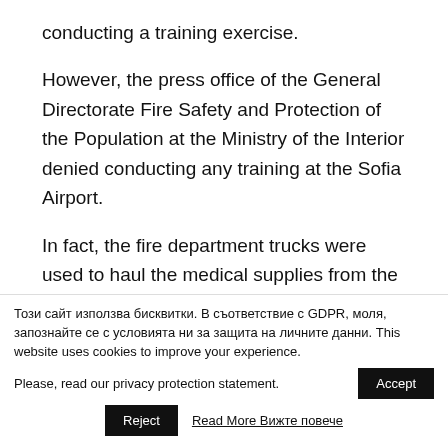conducting a training exercise.
However, the press office of the General Directorate Fire Safety and Protection of the Population at the Ministry of the Interior denied conducting any training at the Sofia Airport.
In fact, the fire department trucks were used to haul the medical supplies from the UAE to the Red Cross base in the village of Dolni Lozen, where they were
Този сайт използва бисквитки. В съответствие с GDPR, моля, запознайте се с условията ни за защита на личните данни. This website uses cookies to improve your experience. Please, read our privacy protection statement.
Accept
Reject
Read More Вижте повече